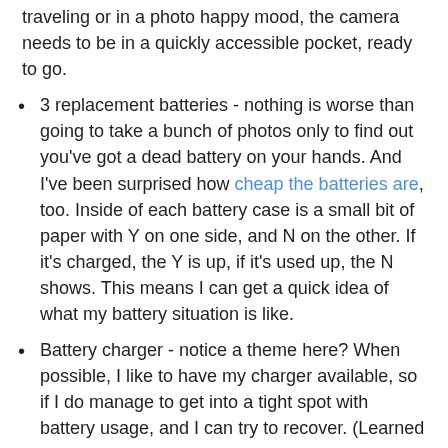traveling or in a photo happy mood, the camera needs to be in a quickly accessible pocket, ready to go.
3 replacement batteries - nothing is worse than going to take a bunch of photos only to find out you've got a dead battery on your hands. And I've been surprised how cheap the batteries are, too. Inside of each battery case is a small bit of paper with Y on one side, and N on the other. If it's charged, the Y is up, if it's used up, the N shows. This means I can get a quick idea of what my battery situation is like.
Battery charger - notice a theme here? When possible, I like to have my charger available, so if I do manage to get into a tight spot with battery usage, and I can try to recover. (Learned this one the hard way at a wedding. I ended up borrowing another guest's charger, and vowed to myself that it would come along with me on future photo ops.)
Gorillpod - For its size, it's hard to beat the versatility